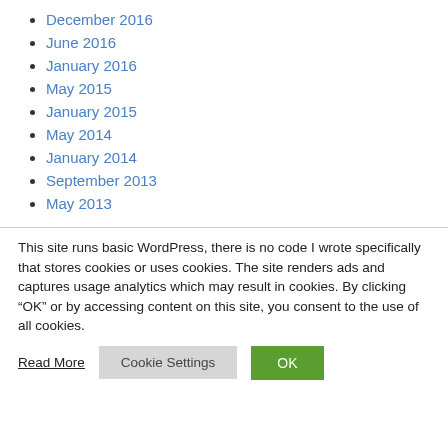December 2016
June 2016
January 2016
May 2015
January 2015
May 2014
January 2014
September 2013
May 2013
This site runs basic WordPress, there is no code I wrote specifically that stores cookies or uses cookies. The site renders ads and captures usage analytics which may result in cookies. By clicking “OK” or by accessing content on this site, you consent to the use of all cookies.
Read More | Cookie Settings | OK